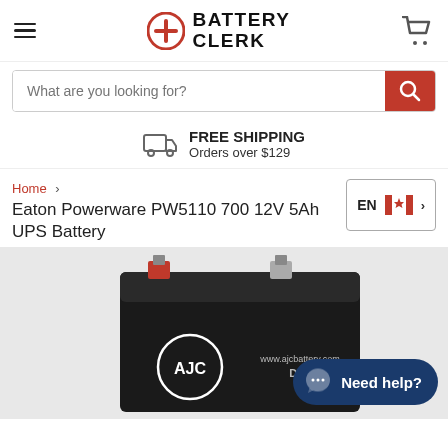Battery Clerk
What are you looking for?
FREE SHIPPING
Orders over $129
Home > Eaton Powerware PW5110 700 12V 5Ah UPS Battery
[Figure (photo): Black AJC battery (model D5S, 12V 5Ah) on a light grey background]
Need help?